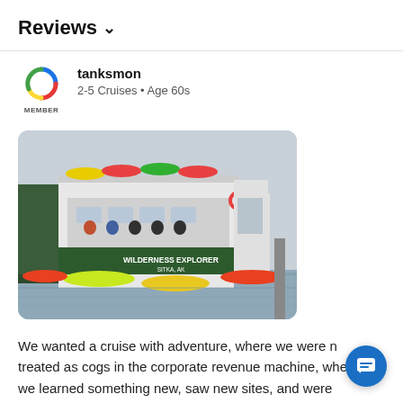Reviews ∨
tanksmon
2-5 Cruises • Age 60s
[Figure (photo): Photo of the Wilderness Explorer ship docked at Sitka, AK, with kayaks on the deck and water in the foreground.]
We wanted a cruise with adventure, where we were not treated as cogs in the corporate revenue machine, where we learned something new, saw new sites, and were trusted to do stuff alone, plus given the cool stuff to do it